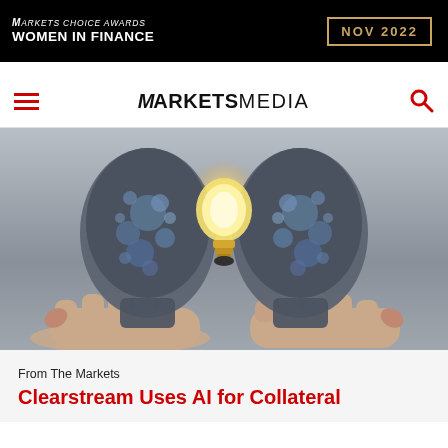[Figure (other): Markets Choice Awards Women in Finance NOV 2022 banner advertisement on black background with gold border date box]
MARKETS MEDIA
[Figure (photo): Two human heads made of gears and cogs facing each other, each held up by a human hand, with a glowing light bulb between them against a grey background, symbolizing the exchange of ideas and artificial intelligence]
From The Markets
Clearstream Uses AI for Collateral